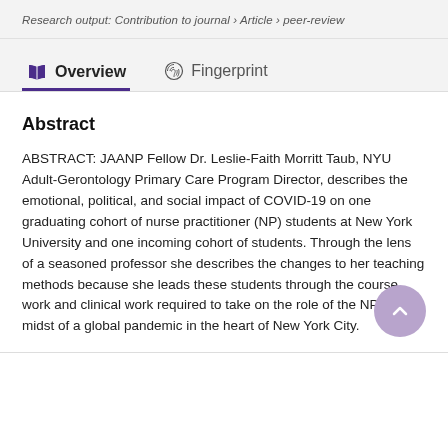Research output: Contribution to journal › Article › peer-review
Overview   Fingerprint
Abstract
ABSTRACT: JAANP Fellow Dr. Leslie-Faith Morritt Taub, NYU Adult-Gerontology Primary Care Program Director, describes the emotional, political, and social impact of COVID-19 on one graduating cohort of nurse practitioner (NP) students at New York University and one incoming cohort of students. Through the lens of a seasoned professor she describes the changes to her teaching methods because she leads these students through the course work and clinical work required to take on the role of the NP in the midst of a global pandemic in the heart of New York City.